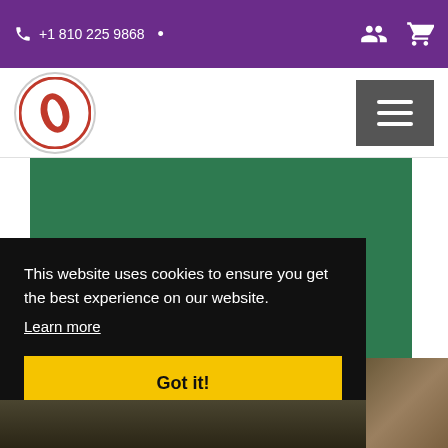+1 810 225 9868
[Figure (logo): Circular logo with red and white design on white background]
[Figure (screenshot): Dark gray hamburger menu button with three white horizontal lines]
[Figure (illustration): Solid dark green rectangular banner area]
This website uses cookies to ensure you get the best experience on our website. Learn more
[Figure (other): Yellow 'Got it!' cookie consent button]